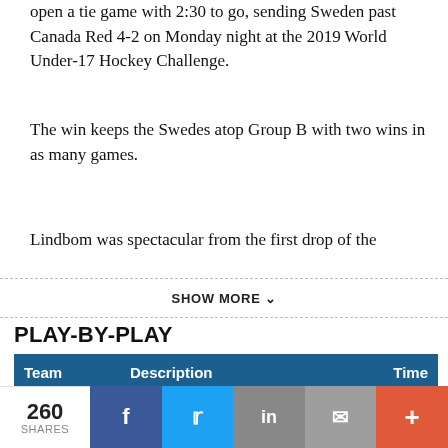open a tie game with 2:30 to go, sending Sweden past Canada Red 4-2 on Monday night at the 2019 World Under-17 Hockey Challenge.
The win keeps the Swedes atop Group B with two wins in as many games.
Lindbom was spectacular from the first drop of the
SHOW MORE
PLAY-BY-PLAY
| Team | Description | Time |
| --- | --- | --- |
| 1ST PERIOD |  |  |
|  | PENALTY |  |
260 SHARES